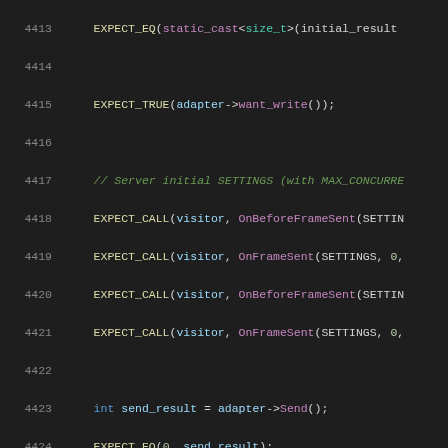[Figure (screenshot): Source code listing showing C++ unit test code with syntax highlighting on dark background. Lines 4413-4434 visible.]